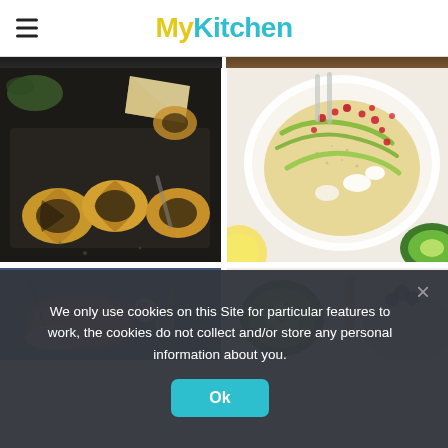MyKitchen
[Figure (photo): Dark strip showing partial food images at top of page]
[Figure (photo): Puff pastry pinwheel rolls with cheese and herbs on dark slate board]
[Figure (photo): Overhead view of salad bowl with couscous, kiwi slices, pomegranate seeds and greens]
[Figure (photo): Partial image of fish or seafood dish with radishes and vegetables on blue background]
[Figure (photo): Partial image of kiwi slices and other items]
We only use cookies on this Site for particular features to work, the cookies do not collect and/or store any personal information about you.